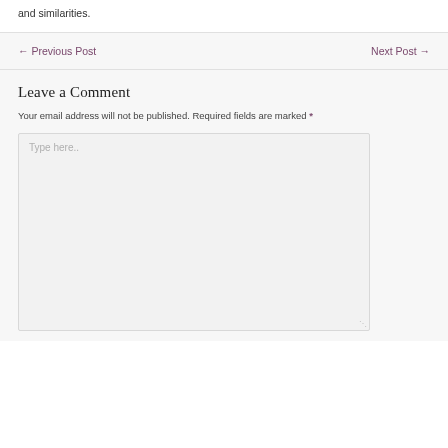and similarities.
← Previous Post     Next Post →
Leave a Comment
Your email address will not be published. Required fields are marked *
Type here..